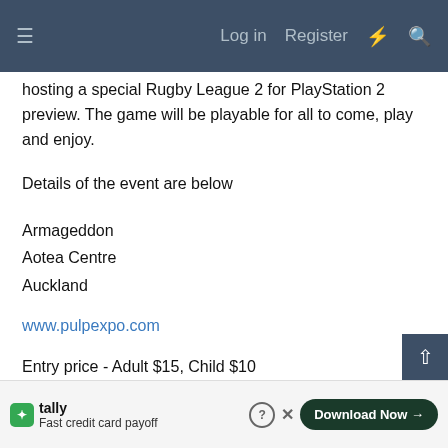≡   Log in   Register   ⚡   🔍
hosting a special Rugby League 2 for PlayStation 2 preview. The game will be playable for all to come, play and enjoy.
Details of the event are below
Armageddon
Aotea Centre
Auckland
www.pulpexpo.com
Entry price - Adult $15, Child $10
Saturday 22 October 9:00am - 6:00pm
Sunda  22 October 9:00...  - 6:00...
Monda...
Tally – Fast credit card payoff  Download Now →